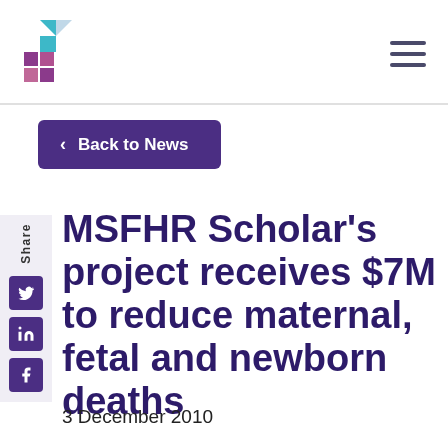MSFHR logo and navigation bar
< Back to News
MSFHR Scholar's project receives $7M to reduce maternal, fetal and newborn deaths
3 December 2010